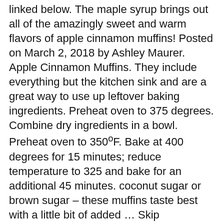linked below. The maple syrup brings out all of the amazingly sweet and warm flavors of apple cinnamon muffins! Posted on March 2, 2018 by Ashley Maurer. Apple Cinnamon Muffins. They include everything but the kitchen sink and are a great way to use up leftover baking ingredients. Preheat oven to 375 degrees. Combine dry ingredients in a bowl. Preheat oven to 350ºF. Bake at 400 degrees for 15 minutes; reduce temperature to 325 and bake for an additional 45 minutes. coconut sugar or brown sugar – these muffins taste best with a little bit of added … Skip Navigation. They're perfect for a make-ahead breakfast. In a separate bowl, beat eggs, add vanilla and pumpkin and mix well. Prep Time ... 2 1/4 tsp Ground Cinnamon 1 1/2 tsp Baking Powder 1/2 tsp Salt 2 Medium Apples, peeled and chopped Instructions. Fill prepared muffin cups 2/3 full and bake about 30 minutes. In a large bowl, combine the flours, sugar, baking soda and cinnamon. For today's apple cinnamon version, we're leaving out the grated carrot and switching up a couple other ingredients. Apple cinnamon muffins. Mayo Clinic offers appointments in Arizona, Florida and Minnesota